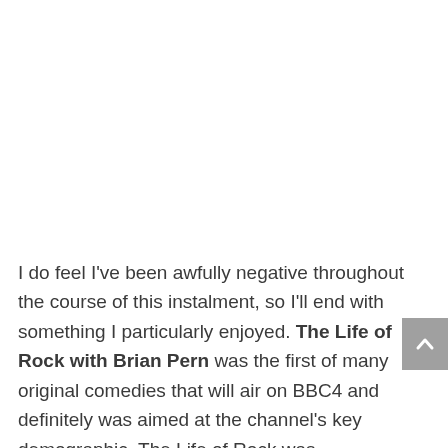I do feel I've been awfully negative throughout the course of this instalment, so I'll end with something I particularly enjoyed. The Life of Rock with Brian Pern was the first of many original comedies that will air on BBC4 and definitely was aimed at the channel's key demographic. The Life of Rock was essentially a parody of the music documentaries that